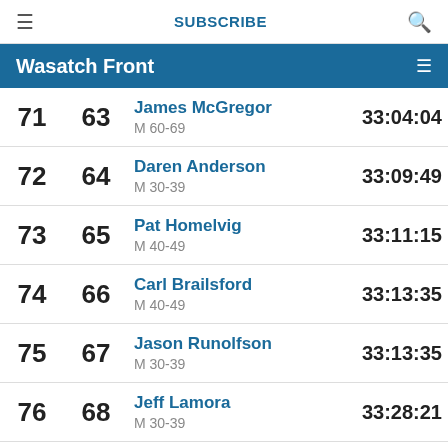≡  SUBSCRIBE  🔍
Wasatch Front
| Overall | AG | Name / Category | Time |
| --- | --- | --- | --- |
| 71 | 63 | James McGregor
M 60-69 | 33:04:04 |
| 72 | 64 | Daren Anderson
M 30-39 | 33:09:49 |
| 73 | 65 | Pat Homelvig
M 40-49 | 33:11:15 |
| 74 | 66 | Carl Brailsford
M 40-49 | 33:13:35 |
| 75 | 67 | Jason Runolfson
M 30-39 | 33:13:35 |
| 76 | 68 | Jeff Lamora
M 30-39 | 33:28:21 |